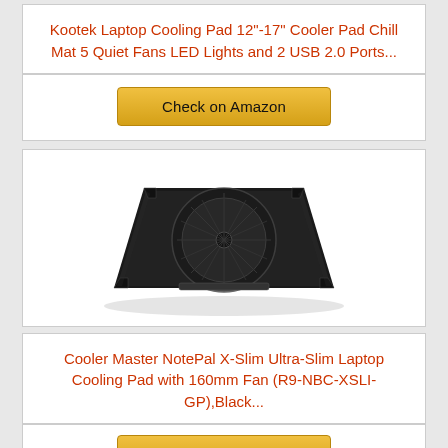Kootek Laptop Cooling Pad 12"-17" Cooler Pad Chill Mat 5 Quiet Fans LED Lights and 2 USB 2.0 Ports...
[Figure (other): Check on Amazon button (golden/yellow button)]
[Figure (photo): Black laptop cooling pad with single large 160mm fan, radiating rib design, four corner rubber feet, viewed from above at slight angle]
Cooler Master NotePal X-Slim Ultra-Slim Laptop Cooling Pad with 160mm Fan (R9-NBC-XSLI-GP),Black...
[Figure (other): Check on Amazon button (golden/yellow button), partially visible at bottom]